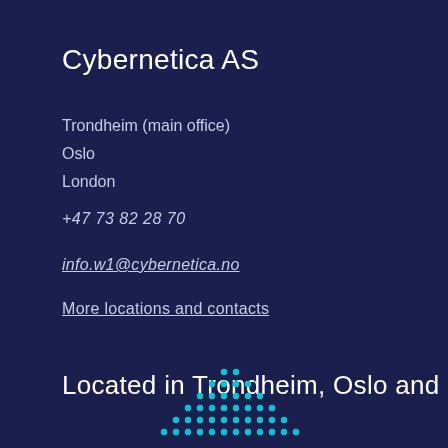Cybernetica AS
Trondheim (main office)
Oslo
London
+47 73 82 28 70
info.w1@cybernetica.no
More locations and contacts
Located in Trondheim, Oslo and London
[Figure (logo): Cybernetica logo made of cyan/teal dots arranged in a triangular/mountain shape pattern at the bottom of the page]